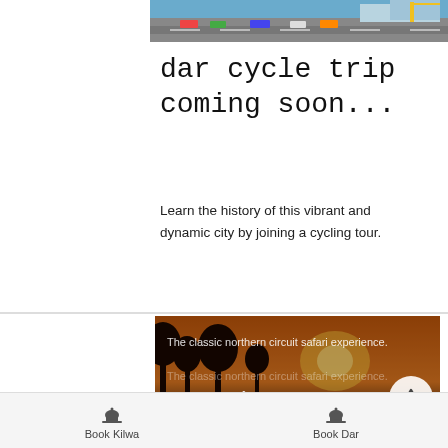[Figure (photo): Aerial or elevated view of a city road with cars, bus, buildings – top strip photo]
dar cycle trip coming soon...
Learn the history of this vibrant and dynamic city by joining a cycling tour.
[Figure (photo): Safari landscape at sunset with trees – Serengeti & Ngorongoro card with overlay text: 'The classic northern circuit safari experience.' and 'Serengeti & Ngorongor']
[Figure (photo): Mountain landscape – Kilimanjaro card with text 'Kilimanjaro' and 'Easily accessible from Dar es']
Book Kilwa   Book Dar